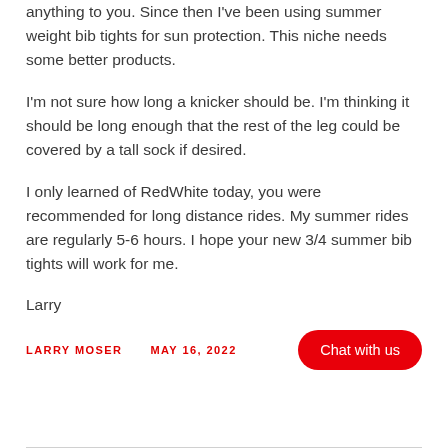anything to you. Since then I've been using summer weight bib tights for sun protection. This niche needs some better products.
I'm not sure how long a knicker should be. I'm thinking it should be long enough that the rest of the leg could be covered by a tall sock if desired.
I only learned of RedWhite today, you were recommended for long distance rides. My summer rides are regularly 5-6 hours. I hope your new 3/4 summer bib tights will work for me.
Larry
LARRY MOSER    MAY 16, 2022